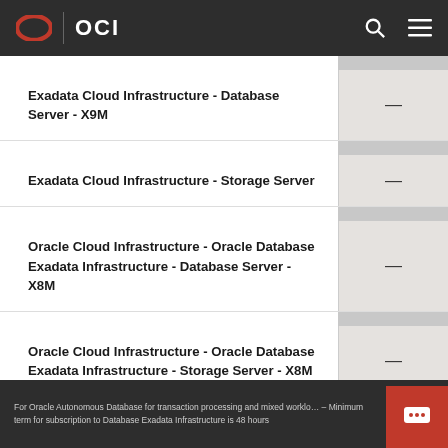OCI
| Product |  |
| --- | --- |
| Exadata Cloud Infrastructure - Database Server - X9M | — |
| Exadata Cloud Infrastructure - Storage Server | — |
| Oracle Cloud Infrastructure - Oracle Database Exadata Infrastructure - Database Server - X8M | — |
| Oracle Cloud Infrastructure - Oracle Database Exadata Infrastructure - Storage Server - X8M | — |
For Oracle Autonomous Database for transaction processing and mixed worklo... – Minimum term for subscription to Database Exadata Infrastructure is 48 hours